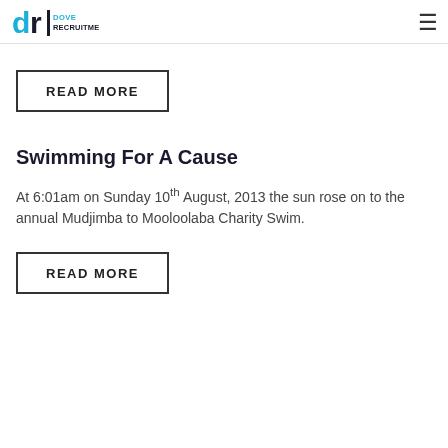Dove Recruitment
READ MORE
Swimming For A Cause
At 6:01am on Sunday 10th August, 2013 the sun rose on to the annual Mudjimba to Mooloolaba Charity Swim.
READ MORE